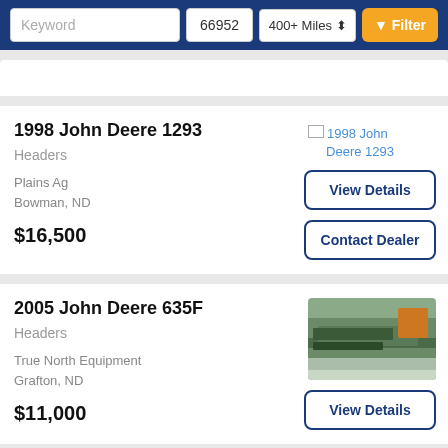Keyword | 66952 | 400+ Miles | Filter
1998 John Deere 1293
Headers
Plains Ag
Bowman, ND
$16,500
[Figure (photo): Broken image placeholder linking to 1998 John Deere 1293]
View Details
Contact Dealer
2005 John Deere 635F
Headers
True North Equipment
Grafton, ND
$11,000
[Figure (photo): Photo of 2005 John Deere 635F green header equipment outdoors]
View Details